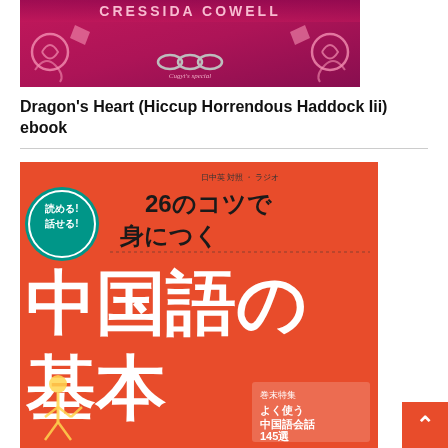[Figure (illustration): Book cover for Dragon's Heart (Hiccup Horrendous Haddock Iii) - pink/magenta colored cover with author name CRESSIDA COWELL, decorative swirls and chain imagery]
Dragon's Heart (Hiccup Horrendous Haddock Iii) ebook
[Figure (illustration): Book cover for a Japanese language learning book on an orange/red background. Title reads: 読める！話せる！26のコツで身につく中国語の基本. Features a badge saying 読める！話せる！, large Japanese/Chinese characters, and a box in the bottom right showing: 巻末特集 よく使う中国語会話145選]